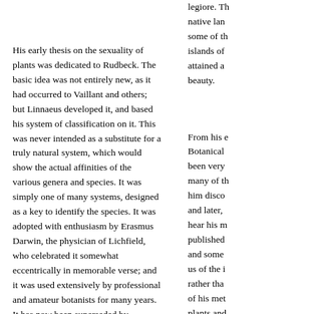His early thesis on the sexuality of plants was dedicated to Rudbeck. The basic idea was not entirely new, as it had occurred to Vaillant and others; but Linnaeus developed it, and based his system of classification on it. This was never intended as a substitute for a truly natural system, which would show the actual affinities of the various genera and species. It was simply one of many systems, designed as a key to identify the species. It was adopted with enthusiasm by Erasmus Darwin, the physician of Lichfield, who celebrated it somewhat eccentrically in memorable verse; and it was used extensively by professional and amateur botanists for many years. It has now been superseded by classification more in accordance with nature:  in this Linnaeus' own hopes and aspirations have been largely realised. The idea of evolution was quite foreign to him, as he believed that each species was separately created and substantially unalterable;  but in his awareness of the close affinity of mankind with apes, he was in a sense a predecessor of Erasmus' more famous grandson, Charles.
Linnaeus recognised Cesalpino as the first true systematist;  he owed much to the influence of Ray;
legiore. The native language, some of the islands of attained a beauty.
From his e Botanical been very many of the him disco and later, hear his m published and some us of the i rather than of his met plants and him prima still reme very close expedition study the manner of the clothes in detail.